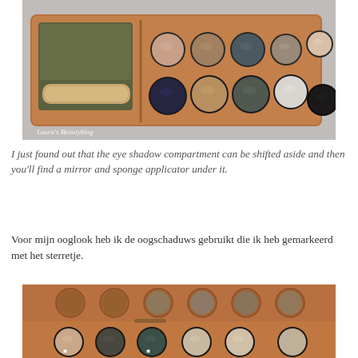[Figure (photo): An open brown/copper-colored eye shadow palette showing a mirror and sponge applicator on the left side, and 10 circular eye shadow pans in various colors (nude, brown, dark navy, taupe, grey, white, black, teal) on the right. A watermark reads 'Laura's Beautyblog'.]
I just found out that the eye shadow compartment can be shifted aside and then you'll find a mirror and sponge applicator under it.
Voor mijn ooglook heb ik de oogschaduws gebruikt die ik heb gemarkeerd met het sterretje.
[Figure (photo): Close-up of the open eye shadow palette showing the inside lid with circular impressions and the bottom tray with eye shadow pans. Some pans are marked with white asterisk (*) symbols indicating the shades used for the eye look.]